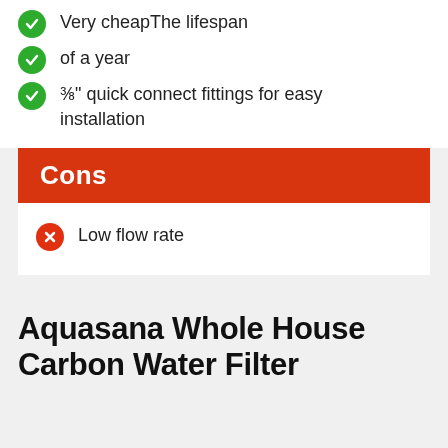Very cheapThe lifespan
of a year
⅜" quick connect fittings for easy installation
Cons
Low flow rate
Aquasana Whole House Carbon Water Filter